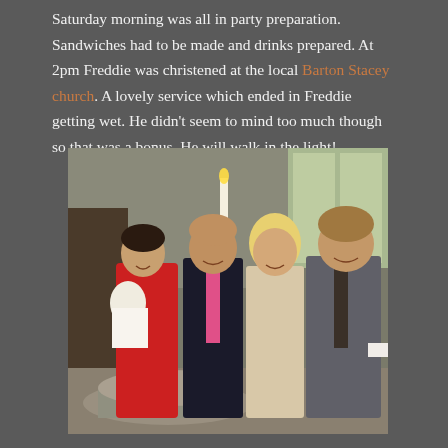Saturday morning was all in party preparation. Sandwiches had to be made and drinks prepared. At 2pm Freddie was christened at the local Barton Stacey church. A lovely service which ended in Freddie getting wet. He didn't seem to mind too much though so that was a bonus. He will walk in the light!
[Figure (photo): Group photo of four adults and a baby in a church setting. A woman in a red dress holds a baby in white christening gown. Next to her stands a man in a dark suit with pink tie, then a blonde woman in a cream/beige dress, and a man in a grey suit with a dark tie. A stone baptismal font is visible in the foreground. Stained glass windows and church interior visible in background.]